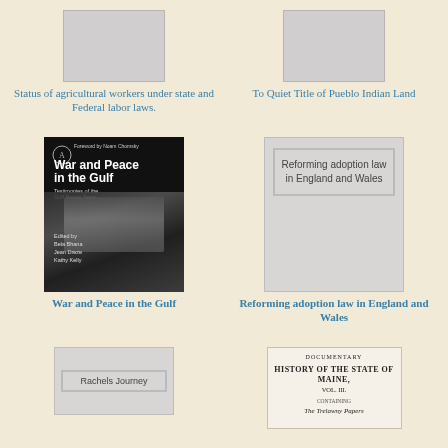[Figure (illustration): Book cover placeholder (gray rectangle) for Status of agricultural workers under state and Federal labor laws.]
[Figure (illustration): Book cover placeholder (gray rectangle) for To Quiet Title of Pueblo Indian Land]
Status of agricultural workers under state and Federal labor laws.
To Quiet Title of Pueblo Indian Land
[Figure (photo): Book cover of War and Peace in the Gulf - black and white photo with text overlay. Foreword by Noam Chomsky. Edited by Bela Bhana, Jean Dreze, Kathy Kelly.]
[Figure (illustration): Book cover for Reforming adoption law in England and Wales with inner border box containing the title text.]
War and Peace in the Gulf
Reforming adoption law in England and Wales
[Figure (illustration): Book cover placeholder for Rachels Journey with inner border rectangle]
[Figure (illustration): Book cover for Documentary History of the State of Maine, Vol. III, containing The Trelawny Papers]
Rachels Journey